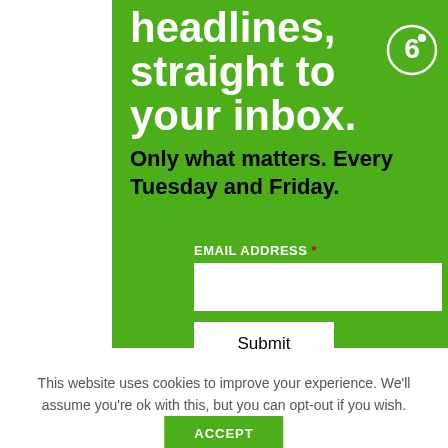headlines, straight to your inbox.
Only what matters. Every Tuesday and Friday.
EMAIL ADDRESS *
Submit
This website uses cookies to improve your experience. We'll assume you're ok with this, but you can opt-out if you wish.
ACCEPT